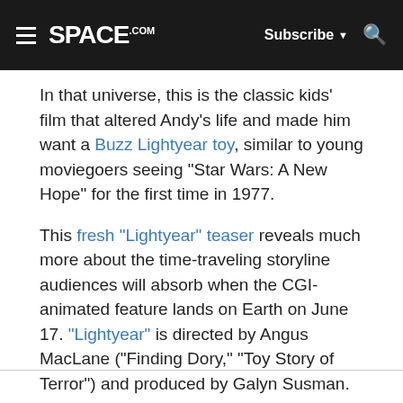SPACE.com | Subscribe | Search
In that universe, this is the classic kids' film that altered Andy's life and made him want a Buzz Lightyear toy, similar to young moviegoers seeing "Star Wars: A New Hope" for the first time in 1977.
This fresh "Lightyear" teaser reveals much more about the time-traveling storyline audiences will absorb when the CGI-animated feature lands on Earth on June 17. "Lightyear" is directed by Angus MacLane ("Finding Dory," "Toy Story of Terror") and produced by Galyn Susman.